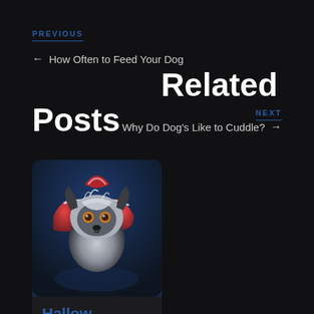PREVIOUS
← How Often to Feed Your Dog
Related Posts
NEXT
Why Do Dog's Like to Cuddle? →
[Figure (photo): A small dog wearing a red and white outfit, photographed against a dark blue background, looking at the camera.]
Hallow